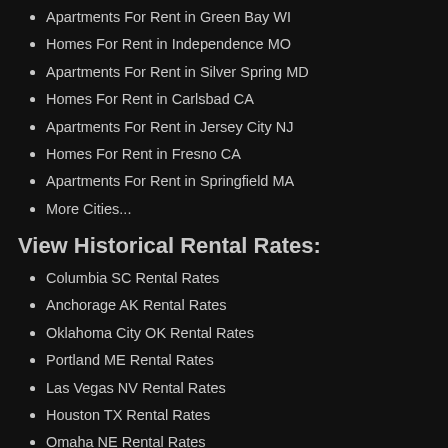Apartments For Rent in Green Bay WI
Homes For Rent in Independence MO
Apartments For Rent in Silver Spring MD
Homes For Rent in Carlsbad CA
Apartments For Rent in Jersey City NJ
Homes For Rent in Fresno CA
Apartments For Rent in Springfield MA
More Cities...
View Historical Rental Rates:
Columbia SC Rental Rates
Anchorage AK Rental Rates
Oklahoma City OK Rental Rates
Portland ME Rental Rates
Las Vegas NV Rental Rates
Houston TX Rental Rates
Omaha NE Rental Rates
Manchester NH Rental Rates